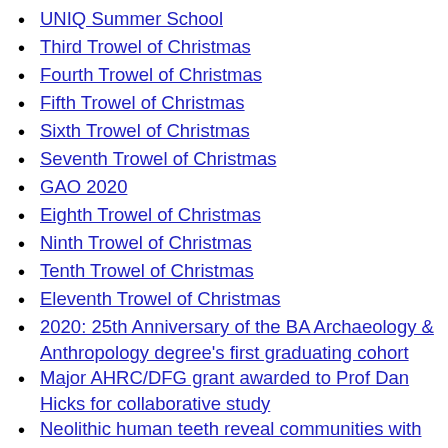UNIQ Summer School
Third Trowel of Christmas
Fourth Trowel of Christmas
Fifth Trowel of Christmas
Sixth Trowel of Christmas
Seventh Trowel of Christmas
GAO 2020
Eighth Trowel of Christmas
Ninth Trowel of Christmas
Tenth Trowel of Christmas
Eleventh Trowel of Christmas
2020: 25th Anniversary of the BA Archaeology & Anthropology degree's first graduating cohort
Major AHRC/DFG grant awarded to Prof Dan Hicks for collaborative study
Neolithic human teeth reveal communities with distinct cultures coexisted in Northern Spain
OCMA Conference 2021
PER Resources